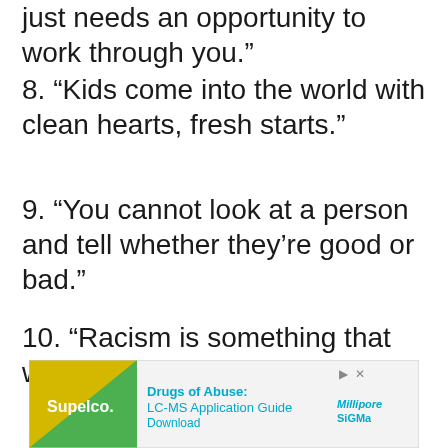just needs an opportunity to work through you.”
8. “Kids come into the world with clean hearts, fresh starts.”
9. “You cannot look at a person and tell whether they’re good or bad.”
10. “Racism is something that we, as adults, have kept alive.”
[Figure (other): Advertisement banner for Supelco / MilliporeSigma: Drugs of Abuse: LC-MS Application Guide Download]